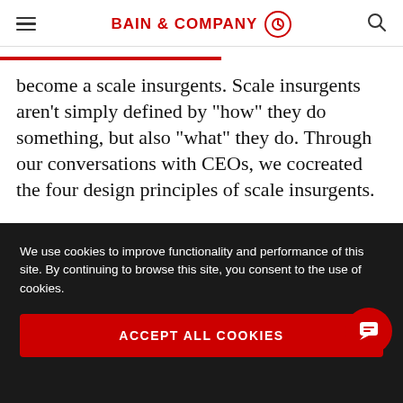BAIN & COMPANY
become a scale insurgents. Scale insurgents aren't simply defined by "how" they do something, but also "what" they do. Through our conversations with CEOs, we cocreated the four design principles of scale insurgents.
Answer "why." Why should customers care that
We use cookies to improve functionality and performance of this site. By continuing to browse this site, you consent to the use of cookies.
ACCEPT ALL COOKIES